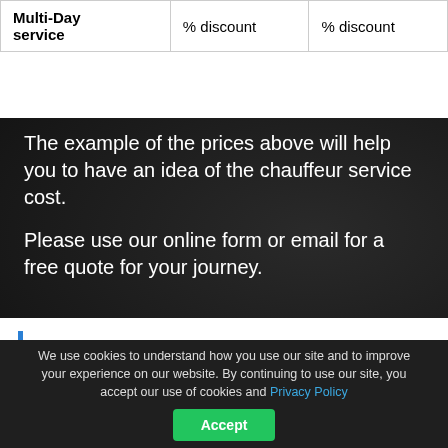| Multi-Day service | % discount | % discount |
| --- | --- | --- |
The example of the prices above will help you to have an idea of the chauffeur service cost.
Please use our online form or email for a free quote for your journey.
Chauffeur service in
We use cookies to understand how you use our site and to improve your experience on our website. By continuing to use our site, you accept our use of cookies and Privacy Policy